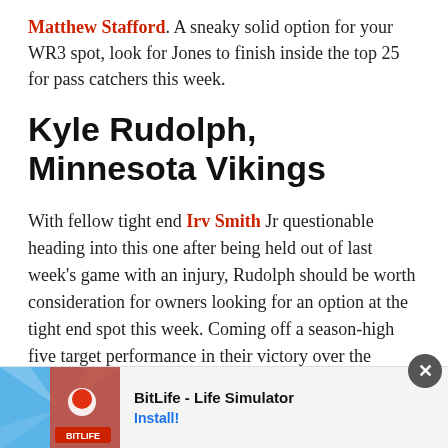Matthew Stafford. A sneaky solid option for your WR3 spot, look for Jones to finish inside the top 25 for pass catchers this week.
Kyle Rudolph, Minnesota Vikings
With fellow tight end Irv Smith Jr questionable heading into this one after being held out of last week's game with an injury, Rudolph should be worth consideration for owners looking for an option at the tight end spot this week. Coming off a season-high five target performance in their victory over the Bears, he should once again be in for a high volume day against the Cowboys defense. Ranked as the third-worst defense against the tight end spot
[Figure (other): Mobile advertisement banner for BitLife - Life Simulator app with colorful background, ad label, product name, install button, and close (X) button]